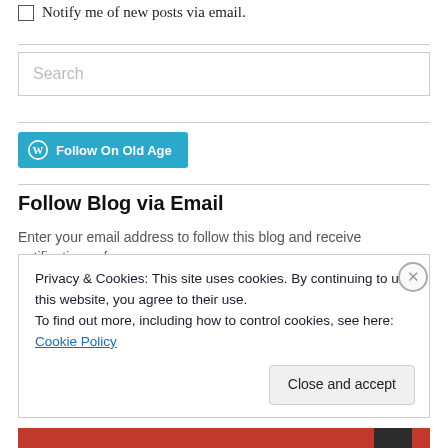Notify me of new posts via email.
[Figure (screenshot): Search input box with placeholder text 'Search']
[Figure (screenshot): Follow On Old Age button with WordPress logo, teal/cyan background]
Follow Blog via Email
Enter your email address to follow this blog and receive notifications of
Privacy & Cookies: This site uses cookies. By continuing to use this website, you agree to their use.
To find out more, including how to control cookies, see here: Cookie Policy
Close and accept